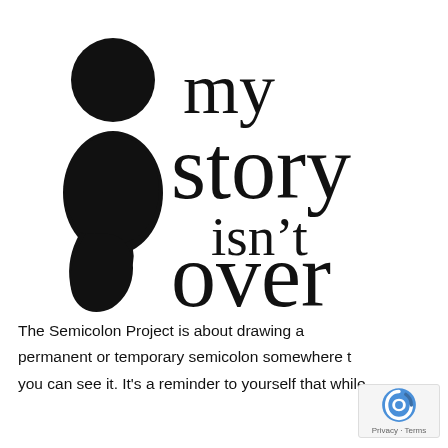[Figure (logo): Semicolon Project logo: a large black semicolon (dot on top, comma curl below) on the left, with the text 'my story isn't over' in large serif font on the right]
The Semicolon Project is about drawing a permanent or temporary semicolon somewhere t you can see it. It's a reminder to yourself that while